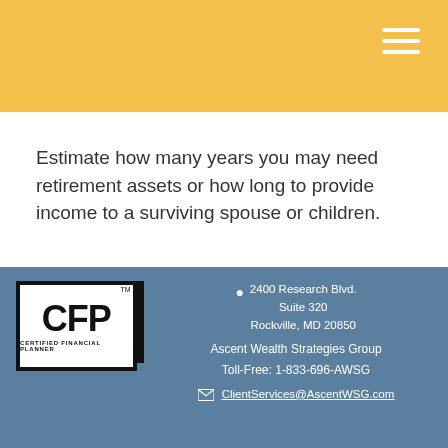[Figure (other): Gold/yellow header bar with hamburger menu icon (three white horizontal lines) in the top right corner]
Estimate how many years you may need retirement assets or how long to provide income to a surviving spouse or children.
[Figure (logo): CFP Certified Financial Planner logo — black border rectangle with large bold CFP text and vertical black bar on right, 'CERTIFIED FINANCIAL PLANNER' in small text below, TM superscript]
2400 Research Blvd.
Suite 320
Rockville, MD 20850
Ascent Wealth Strategies Group
Toll-Free: 1-833-696-AWSG
ClientServices@AscentWSG.com